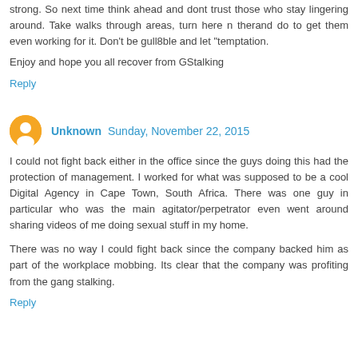strong. So next time think ahead and dont trust those who stay lingering around. Take walks through areas, turn here n therand do to get them even working for it. Don't be gull8ble and let "temptation.
Enjoy and hope you all recover from GStalking
Reply
Unknown  Sunday, November 22, 2015
I could not fight back either in the office since the guys doing this had the protection of management. I worked for what was supposed to be a cool Digital Agency in Cape Town, South Africa. There was one guy in particular who was the main agitator/perpetrator even went around sharing videos of me doing sexual stuff in my home.
There was no way I could fight back since the company backed him as part of the workplace mobbing. Its clear that the company was profiting from the gang stalking.
Reply